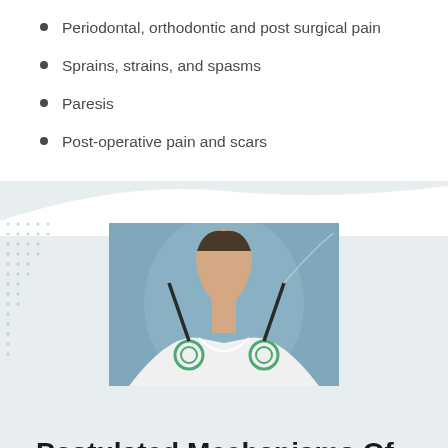Periodontal, orthodontic and post surgical pain
Sprains, strains, and spasms
Paresis
Post-operative pain and scars
[Figure (photo): A man in a white sleeveless shirt with two medical electrodes/probes placed on his shoulder area, showing a microcurrent electrical therapy (MET) treatment setup against a blue-grey background.]
Postulated Mechanisms Of MET